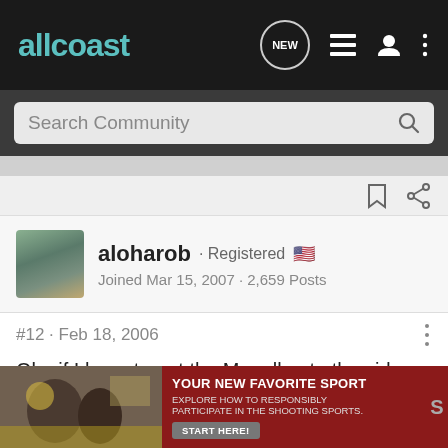allcoast
Search Community
aloharob · Registered 🇺🇸
Joined Mar 15, 2007 · 2,659 Posts
#12 · Feb 18, 2006
Ok...if I have to put the Magellan to the side (as if I could hold even a small candle to these professionals - NOT!!)... I'd nominate the Freespool for the PB category 🙂

Dreamer/Watson is the king according to the people I respect the most... on the Railtime
[Figure (screenshot): Advertisement overlay: YOUR NEW FAVORITE SPORT - EXPLORE HOW TO RESPONSIBLY PARTICIPATE IN THE SHOOTING SPORTS. START HERE! with small photo of people at shooting range.]